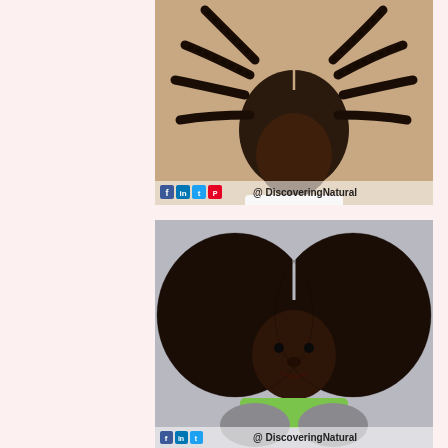[Figure (photo): Close-up photo of a child with dark twisted/braided natural hair, looking downward. The child is wearing a white top. Beige/tan background. Social media watermark at bottom: social icons and '@DiscoveringNatural'.]
[Figure (photo): Photo of a young girl with a large natural afro hairstyle parted in the middle, wearing a green top, resting her chin on her knees. Light gray background. Social media watermark at bottom: social icons and '@DiscoveringNatural'.]